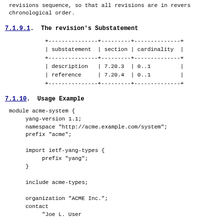revisions sequence, so that all revisions are in reverse chronological order.
7.1.9.1.  The revision's Substatement
| substatement | section | cardinality |
| --- | --- | --- |
| description | 7.20.3 | 0..1 |
| reference | 7.20.4 | 0..1 |
7.1.10.  Usage Example
module acme-system {
     yang-version 1.1;
     namespace "http://acme.example.com/system";
     prefix "acme";

     import ietf-yang-types {
          prefix "yang";
     }

     include acme-types;

     organization "ACME Inc.";
     contact
          "Joe L. User

          ACME, Inc.
          42 Anywhere Drive